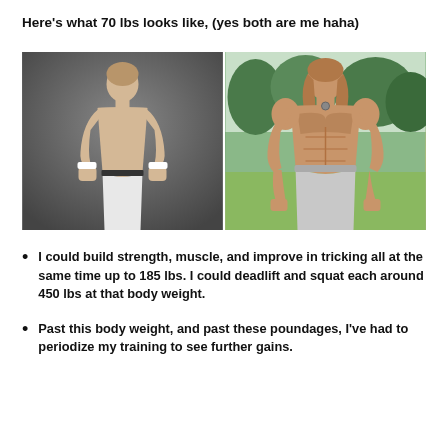Here's what 70 lbs looks like, (yes both are me haha)
[Figure (photo): Side-by-side before and after photos of a person. Left: lean/thin young man shirtless in white pants with wristbands in a dark studio. Right: same person muscular and ripped outdoors in gray pants flexing.]
I could build strength, muscle, and improve in tricking all at the same time up to 185 lbs. I could deadlift and squat each around 450 lbs at that body weight.
Past this body weight, and past these poundages, I've had to periodize my training to see further gains.